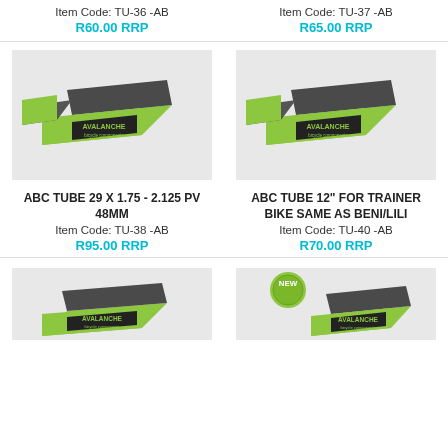Item Code: TU-36 -AB
R60.00 RRP
Item Code: TU-37 -AB
R65.00 RRP
[Figure (photo): Avalanche bicycle components tube box product photo, green and black packaging]
[Figure (photo): Avalanche bicycle components tube box product photo, green and black packaging]
ABC TUBE 29 X 1.75 - 2.125 PV 48MM
Item Code: TU-38 -AB
R95.00 RRP
ABC TUBE 12" FOR TRAINER BIKE SAME AS BENI/LILI
Item Code: TU-40 -AB
R70.00 RRP
[Figure (photo): Avalanche bicycle components tube box product photo, green and black packaging]
[Figure (photo): Avalanche bicycle components tube box product photo NEW badge, green and black packaging]